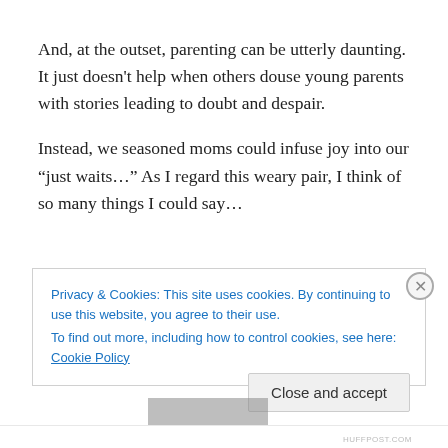And, at the outset, parenting can be utterly daunting. It just doesn't help when others douse young parents with stories leading to doubt and despair.
Instead, we seasoned moms could infuse joy into our “just waits…” As I regard this weary pair, I think of so many things I could say…
Privacy & Cookies: This site uses cookies. By continuing to use this website, you agree to their use.
To find out more, including how to control cookies, see here: Cookie Policy
Close and accept